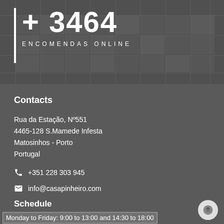[Figure (photo): Building facade with glass windows, black and white photo used as hero background]
+ 3464
ENCOMENDAS ONLINE
Contacts
Rua da Estação, Nº551
4465-128 S.Mamede Infesta
Matosinhos - Porto
Portugal
+351 228 303 945
info@casapinheiro.com
Schedule
Monday to Friday: 9:00 to 13:00 and 14:30 to 18:00